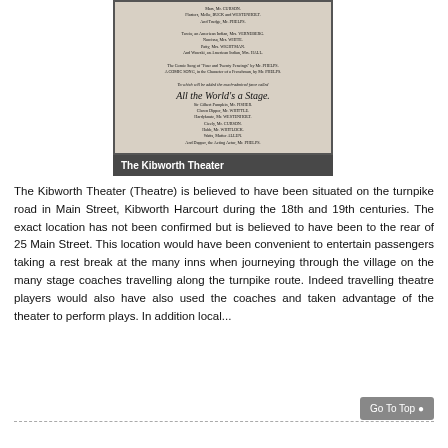[Figure (photo): Black and white theatrical playbill image for 'All the World's a Stage', with small printed text listing cast members. Below the image is a dark caption bar reading 'The Kibworth Theater'.]
The Kibworth Theater
The Kibworth Theater (Theatre) is believed to have been situated on the turnpike road in Main Street, Kibworth Harcourt during the 18th and 19th centuries. The exact location has not been confirmed but is believed to have been to the rear of 25 Main Street. This location would have been convenient to entertain passengers taking a rest break at the many inns when journeying through the village on the many stage coaches travelling along the turnpike route. Indeed travelling theatre players would also have also used the coaches and taken advantage of the theater to perform plays. In addition local...